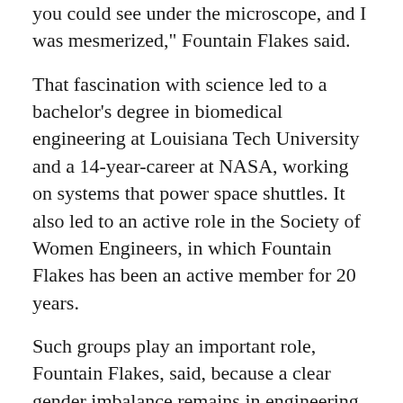you could see under the microscope, and I was mesmerized," Fountain Flakes said.
That fascination with science led to a bachelor's degree in biomedical engineering at Louisiana Tech University and a 14-year-career at NASA, working on systems that power space shuttles. It also led to an active role in the Society of Women Engineers, in which Fountain Flakes has been an active member for 20 years.
Such groups play an important role, Fountain Flakes, said, because a clear gender imbalance remains in engineering.
About 89 percent of engineers are men and only 11 percent women. A recent Raytheon survey found that young men in the United States were far more